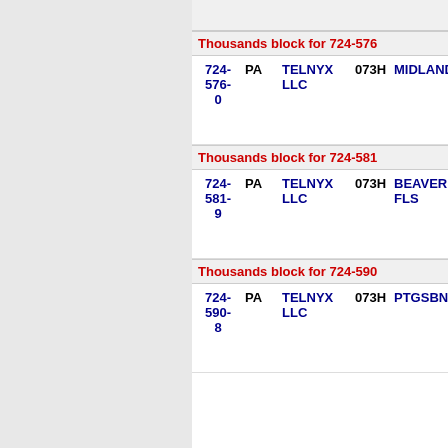| Number | State | Company | Code | Name |
| --- | --- | --- | --- | --- |
| 724-576-0 | PA | TELNYX LLC | 073H | MIDLAND |
| 724-581-9 | PA | TELNYX LLC | 073H | BEAVER FLS |
| 724-590-8 | PA | TELNYX LLC | 073H | PTGSBNZN2 |